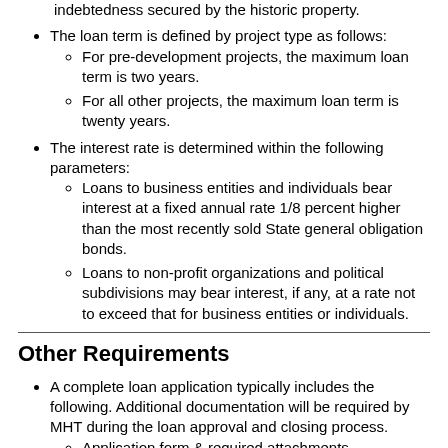indebtedness secured by the historic property.
The loan term is defined by project type as follows:
For pre-development projects, the maximum loan term is two years.
For all other projects, the maximum loan term is twenty years.
The interest rate is determined within the following parameters:
Loans to business entities and individuals bear interest at a fixed annual rate 1/8 percent higher than the most recently sold State general obligation bonds.
Loans to non-profit organizations and political subdivisions may bear interest, if any, at a rate not to exceed that for business entities or individuals.
Other Requirements
A complete loan application typically includes the following. Additional documentation will be required by MHT during the loan approval and closing process.
Application form & required attachments